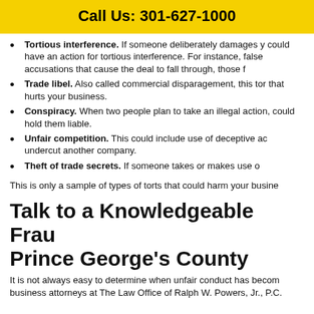Call Us: 301-627-1000
Tortious interference. If someone deliberately damages your business, you could have an action for tortious interference. For instance, if a competitor makes false accusations that cause the deal to fall through, those false accusations...
Trade libel. Also called commercial disparagement, this tort covers false speech that hurts your business.
Conspiracy. When two people plan to take an illegal action, the injured party could hold them liable.
Unfair competition. This could include use of deceptive advertising tactics to undercut another company.
Theft of trade secrets. If someone takes or makes use of...
This is only a sample of types of torts that could harm your busine...
Talk to a Knowledgeable Frau Prince George’s County
It is not always easy to determine when unfair conduct has becom... business attorneys at The Law Office of Ralph W. Powers, Jr., P.C.